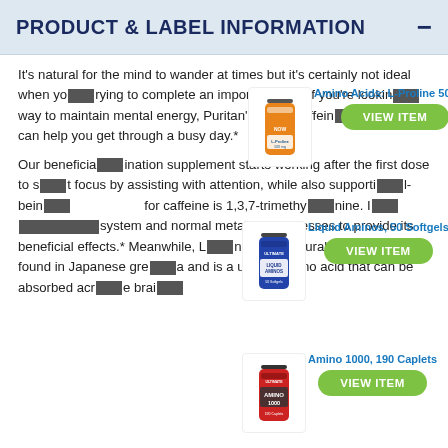PRODUCT & LABEL INFORMATION
It's natural for the mind to wander at times but it's certainly not ideal when you're trying to complete an important task. If you're looking for a way to maintain mental energy, Puritan's Pride Caffeine & Theanine can help you get through a busy day.*
[Figure (photo): Product image: Amino Acids L-Proline 500 mg supplement bottle with VIEW ITEM button]
Our beneficial combination supplement starts working after the first dose to support focus by assisting with attention, while also supporting well-being. The scientific name for caffeine is 1,3,7-trimethylxanthine. It affects the central nervous system and normal metabolic processes to provide its beneficial effects.* Meanwhile, L-Theanine is a natural phytochemical found in Japanese green tea and is a unique amino acid that can be absorbed across the brain blood barrier.*
[Figure (photo): Product image: Liquid Aminos 50 Softgels supplement bottle with VIEW ITEM button]
[Figure (photo): Product image: Amino 1000 190 Caplets supplement bottle with VIEW ITEM button]
Just one daily, fast-acting rapid release capsule can provide you with a balanced dose of theanine and caffeine—without overloading you like many caffeinated energy drinks—helping